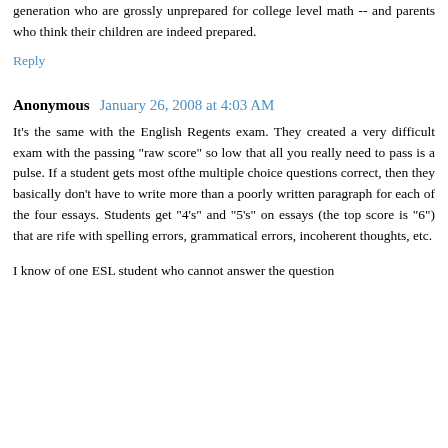It's truly a shame what appears to have happened, truly unconscionable. We have government to thank, starting with Bush and NCLB and the Regents who caved in to that agenda. At least in the area of math, we now have a lost generation who are grossly unprepared for college level math -- and parents who think their children are indeed prepared.
Reply
Anonymous  January 26, 2008 at 4:03 AM
It's the same with the English Regents exam. They created a very difficult exam with the passing "raw score" so low that all you really need to pass is a pulse. If a student gets most ofthe multiple choice questions correct, then they basically don't have to write more than a poorly written paragraph for each of the four essays. Students get "4's" and "5's" on essays (the top score is "6") that are rife with spelling errors, grammatical errors, incoherent thoughts, etc.
I know of one ESL student who cannot answer the question